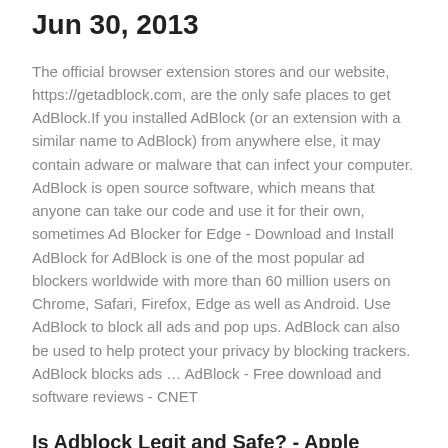Jun 30, 2013
The official browser extension stores and our website, https://getadblock.com, are the only safe places to get AdBlock.If you installed AdBlock (or an extension with a similar name to AdBlock) from anywhere else, it may contain adware or malware that can infect your computer. AdBlock is open source software, which means that anyone can take our code and use it for their own, sometimes Ad Blocker for Edge - Download and Install AdBlock for AdBlock is one of the most popular ad blockers worldwide with more than 60 million users on Chrome, Safari, Firefox, Edge as well as Android. Use AdBlock to block all ads and pop ups. AdBlock can also be used to help protect your privacy by blocking trackers. AdBlock blocks ads … AdBlock - Free download and software reviews - CNET
Is Adblock Legit and Safe? - Apple Community